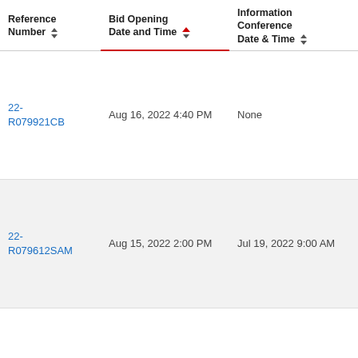| Reference Number | Bid Opening Date and Time | Information Conference Date & Time | Category |
| --- | --- | --- | --- |
| 22-R079921CB | Aug 16, 2022 4:40 PM | None | NC |
| 22-R079612SAM | Aug 15, 2022 2:00 PM | Jul 19, 2022 9:00 AM | RFQUAL |